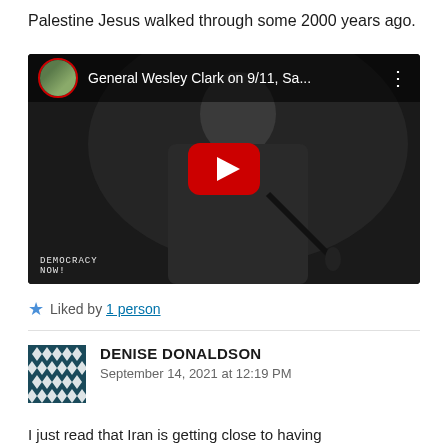Palestine Jesus walked through some 2000 years ago.
[Figure (screenshot): YouTube video thumbnail showing General Wesley Clark titled 'General Wesley Clark on 9/11, Sa...' with a man in a dark suit speaking at a microphone in a dark setting, with Democracy Now watermark. A red YouTube play button is visible in the center.]
Liked by 1 person
DENISE DONALDSON
September 14, 2021 at 12:19 PM
I just read that Iran is getting close to having